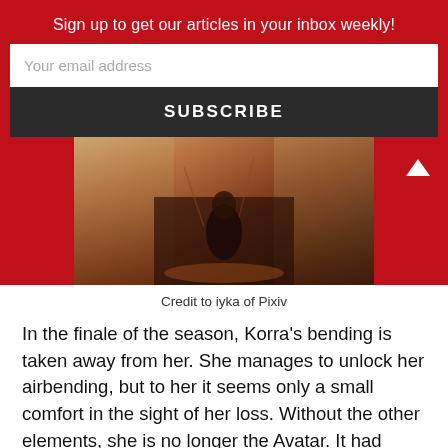Sign up to get our articles in your inbox weekly!
[Figure (screenshot): Email subscription widget with input field labeled 'Your email address' and a dark SUBSCRIBE button]
[Figure (illustration): Animated illustration showing a figure (Korra) in a dark, dramatic scene with warm sunset tones]
Credit to iyka of Pixiv
In the finale of the season, Korra's bending is taken away from her. She manages to unlock her airbending, but to her it seems only a small comfort in the sight of her loss. Without the other elements, she is no longer the Avatar. It had been her goal, her purpose, even her identity, and now it was gone. When she finds that even the most skilled healer in the world can't bring it back, she flees the consolation of her friends and cries alone